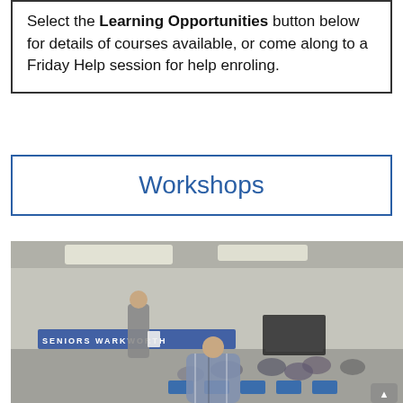Select the Learning Opportunities button below for details of courses available, or come along to a Friday Help session for help enroling.
Workshops
[Figure (photo): A group of senior citizens seated in blue chairs in a community hall, facing a standing presenter/instructor who is holding papers. On the wall behind are letter tiles spelling 'SENIORS WARKWORTH'. A TV/projector screen is visible in the background.]